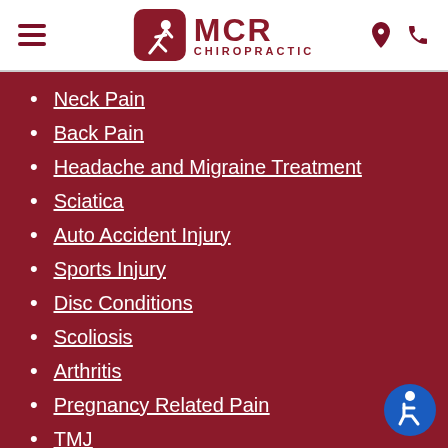[Figure (logo): MCR Chiropractic logo with runner icon, red rounded square, bold red MCR text and CHIROPRACTIC subtitle]
Neck Pain
Back Pain
Headache and Migraine Treatment
Sciatica
Auto Accident Injury
Sports Injury
Disc Conditions
Scoliosis
Arthritis
Pregnancy Related Pain
TMJ
[Figure (illustration): Blue circular accessibility wheelchair icon badge]